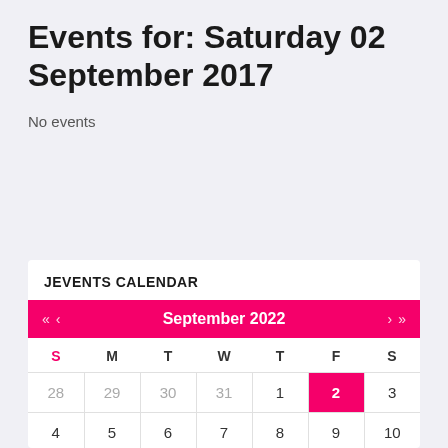Events for: Saturday 02 September 2017
No events
JEVENTS CALENDAR
| S | M | T | W | T | F | S |
| --- | --- | --- | --- | --- | --- | --- |
| 28 | 29 | 30 | 31 | 1 | 2 | 3 |
| 4 | 5 | 6 | 7 | 8 | 9 | 10 |
| 11 | 12 | 13 | 14 | 15 | 16 | 17 |
| 18 | 19 | 20 | 21 | 22 | 23 | 24 |